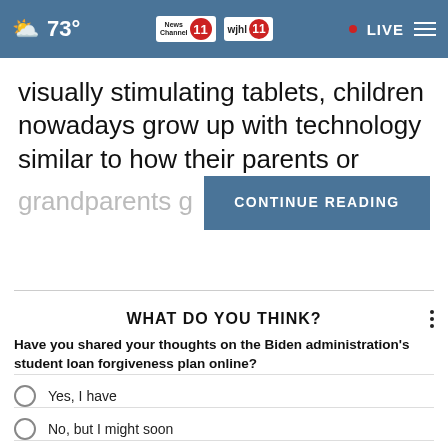73° | News Channel 11 | wjhl.com 11 | LIVE
visually stimulating tablets, children nowadays grow up with technology similar to how their parents or grandparents g
CONTINUE READING
WHAT DO YOU THINK?
Have you shared your thoughts on the Biden administration's student loan forgiveness plan online?
Yes, I have
No, but I might soon
No, and I likely will not
Other / No opinion